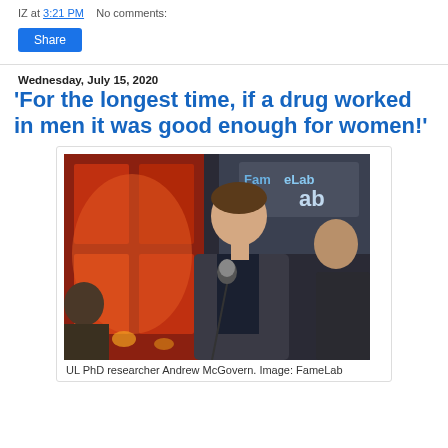IZ at 3:21 PM   No comments:
Share
Wednesday, July 15, 2020
'For the longest time, if a drug worked in men it was good enough for women!'
[Figure (photo): Man speaking at a microphone on a stage with a FameLab banner in the background. He is wearing a dark jacket. Other people visible in the background.]
UL PhD researcher Andrew McGovern. Image: FameLab